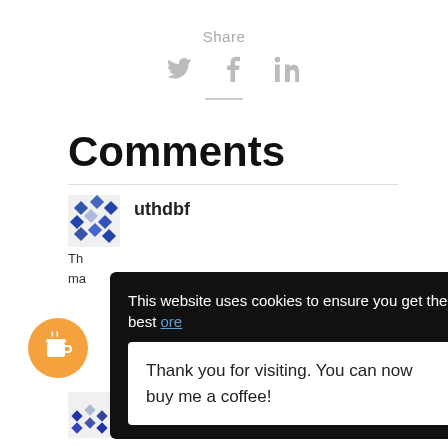Share
[Figure (infographic): Social share icons: Twitter (bird), Facebook (f), LinkedIn (in) in gray]
Comments
uthdbf
This website uses cookies to ensure you get the best ... ore
Thank you for visiting. You can now buy me a coffee!
[Figure (other): Buy me a coffee orange circular button with coffee cup icon]
Johannes